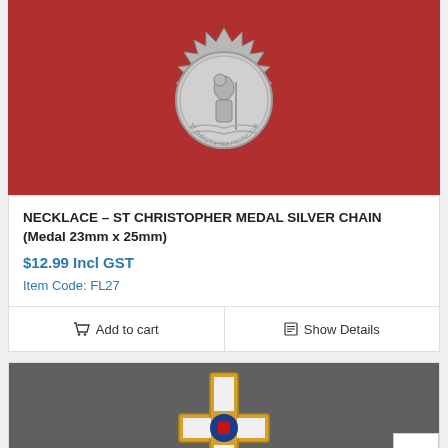[Figure (photo): St Christopher medal on red velvet background, silver colored medal with decorative border]
NECKLACE – ST CHRISTOPHER MEDAL SILVER CHAIN (Medal 23mm x 25mm)
$12.99 Incl GST
Item Code: FL27
Add to cart
Show Details
[Figure (photo): A cross-shaped badge/pin with gold border, white enamel, blue and red center detail on dark leather background]